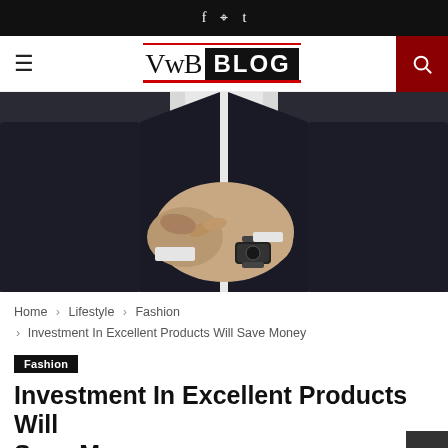f ⊕ t
[Figure (logo): VwB BLOG logo with red underline and overline, hamburger menu on left, search button on right]
[Figure (photo): Man in dark suit adjusting watch cufflink, viewed from chin to waist level, grey background]
Home > Lifestyle > Fashion
> Investment In Excellent Products Will Save Money
Fashion
Investment In Excellent Products Will Save Money